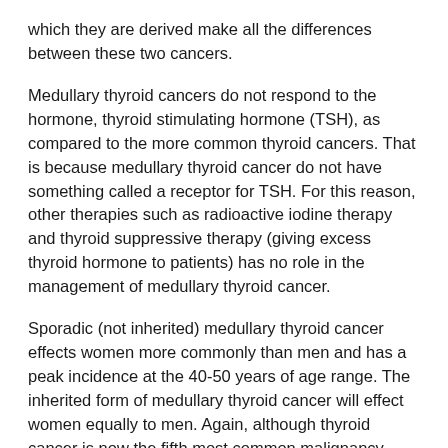which they are derived make all the differences between these two cancers.
Medullary thyroid cancers do not respond to the hormone, thyroid stimulating hormone (TSH), as compared to the more common thyroid cancers. That is because medullary thyroid cancer do not have something called a receptor for TSH. For this reason, other therapies such as radioactive iodine therapy and thyroid suppressive therapy (giving excess thyroid hormone to patients) has no role in the management of medullary thyroid cancer.
Sporadic (not inherited) medullary thyroid cancer effects women more commonly than men and has a peak incidence at the 40-50 years of age range. The inherited form of medullary thyroid cancer will effect women equally to men. Again, although thyroid cancer is now the fifth most common malignancy among women (and seventeenth among men) in the United States, if you have recently undergone biopsy suggesting medullary thyroid cancer, this is a rare cancer and